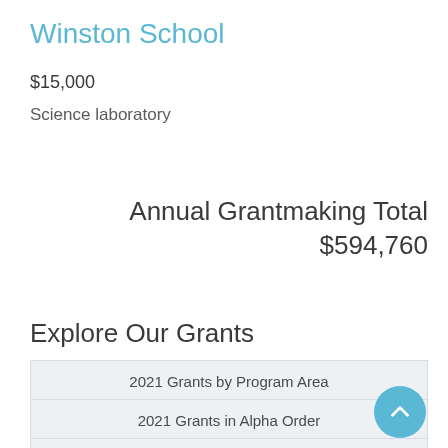Winston School
$15,000
Science laboratory
Annual Grantmaking Total $594,760
Explore Our Grants
2021 Grants by Program Area
2021 Grants in Alpha Order
2020 Grants by Program Area